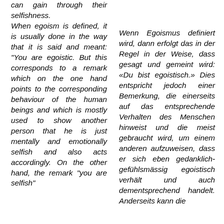can gain through their selfishness. When egoism is defined, it is usually done in the way that it is said and meant: "You are egoistic. But this corresponds to a remark which on the one hand points to the corresponding behaviour of the human beings and which is mostly used to show another person that he is just mentally and emotionally selfish and also acts accordingly. On the other hand, the remark "you are selfish"
Wenn Egoismus definiert wird, dann erfolgt das in der Regel in der Weise, dass gesagt und gemeint wird: «Du bist egoistisch.» Dies entspricht jedoch einer Bemerkung, die einerseits auf das entsprechende Verhalten des Menschen hinweist und die meist gebraucht wird, um einem anderen aufzuweisen, dass er sich eben gedanklich-gefühlsmässig egoistisch verhält und auch dementsprechend handelt. Anderseits kann die